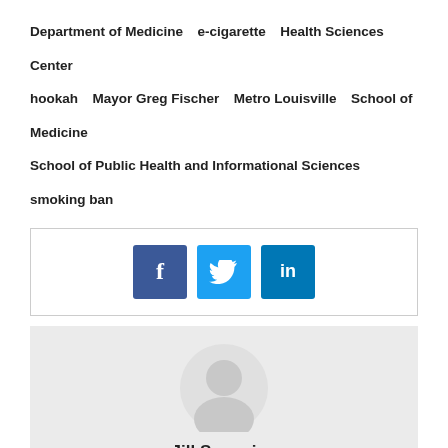Department of Medicine
e-cigarette
Health Sciences Center
hookah
Mayor Greg Fischer
Metro Louisville
School of Medicine
School of Public Health and Informational Sciences
smoking ban
[Figure (infographic): Social share buttons: Facebook (blue), Twitter (light blue), LinkedIn (dark blue)]
[Figure (photo): Circular avatar placeholder icon in light gray]
Jill Scoggins
Jill Scoggins is proud of her role as an academic communications professional with more than 25 years' experience with universities in four states. At UofL, she